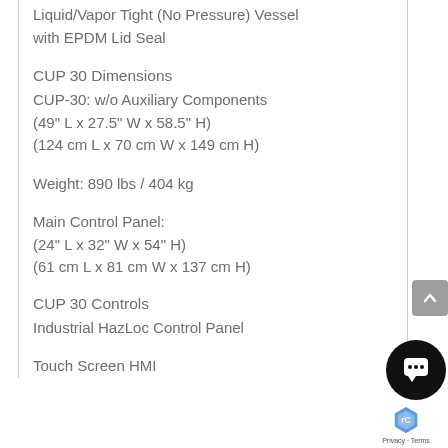Liquid/Vapor Tight (No Pressure) Vessel with EPDM Lid Seal
CUP 30 Dimensions
CUP-30: w/o Auxiliary Components
(49" L x 27.5" W x 58.5" H)
(124 cm L x 70 cm W x 149 cm H)
Weight: 890 lbs / 404 kg
Main Control Panel:
(24" L x 32" W x 54" H)
(61 cm L x 81 cm W x 137 cm H)
CUP 30 Controls
Industrial HazLoc Control Panel
Touch Screen HMI